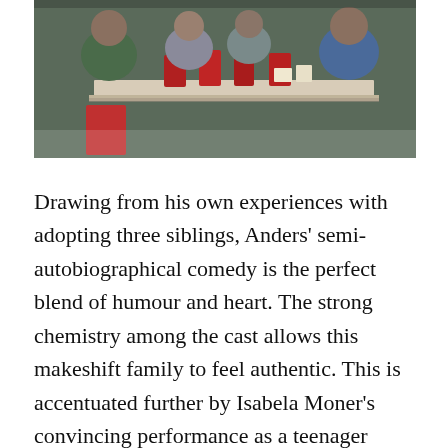[Figure (photo): People sitting around a table in a diner or restaurant setting, with red cups on the table. Several people appear to be eating or drinking.]
Drawing from his own experiences with adopting three siblings, Anders' semi-autobiographical comedy is the perfect blend of humour and heart. The strong chemistry among the cast allows this makeshift family to feel authentic. This is accentuated further by Isabela Moner's convincing performance as a teenager burdened with being a mother to her siblings, while holding out hope that her birth mother will return one day. Lizzy's attempts to push Pete and Eli...